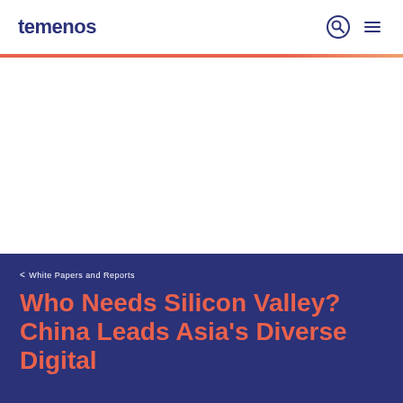temenos
< White Papers and Reports
Who Needs Silicon Valley? China Leads Asia's Diverse Digital